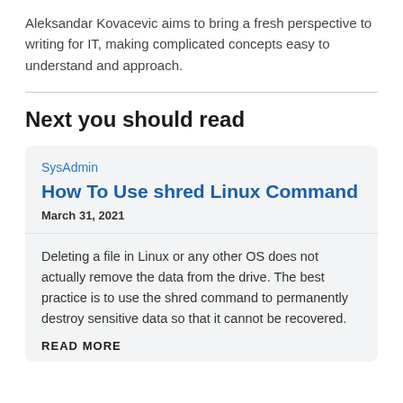Aleksandar Kovacevic aims to bring a fresh perspective to writing for IT, making complicated concepts easy to understand and approach.
Next you should read
SysAdmin
How To Use shred Linux Command
March 31, 2021
Deleting a file in Linux or any other OS does not actually remove the data from the drive. The best practice is to use the shred command to permanently destroy sensitive data so that it cannot be recovered.
READ MORE